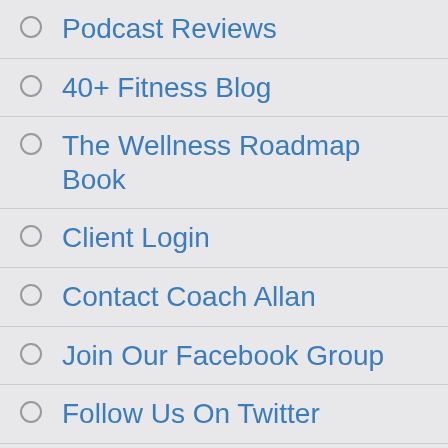Podcast Reviews
40+ Fitness Blog
The Wellness Roadmap Book
Client Login
Contact Coach Allan
Join Our Facebook Group
Follow Us On Twitter
Disclaimer